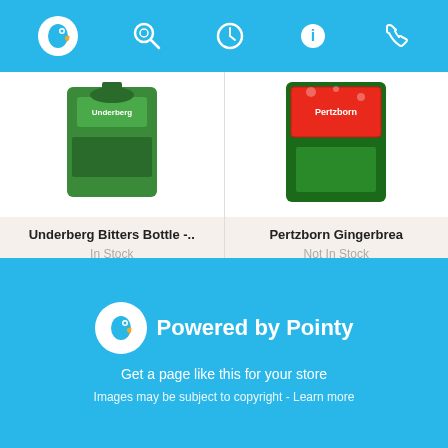[Figure (screenshot): Top navigation bar with Pointy bird logo, search icon, history icon, info icon, and phone icon on blue background]
[Figure (photo): Product image of Underberg Bitters Bottle package (green box)]
Underberg Bitters Bottle -..
In Stock
[Figure (photo): Product image of Pertzborn Gingerbread (partially visible, red/green packaging)]
Pertzborn Gingerbrea
Not In Stock
[Figure (infographic): Pagination dots: 6 dots, first one active (blue), rest gray]
[Figure (logo): Powered by Pointy logo with white bird icon on blue background]
Powered by Pointy
Get a page like this for your store
Images may be subject to copyright - Learn more